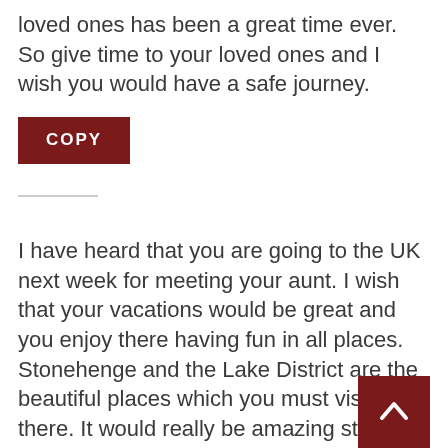loved ones has been a great time ever. So give time to your loved ones and I wish you would have a safe journey.
[Figure (other): A dark red rectangular button labeled COPY in white bold uppercase letters]
I have heard that you are going to the UK next week for meeting your aunt. I wish that your vacations would be great and you enjoy there having fun in all places. Stonehenge and the Lake District are the beautiful places which you must visit there. It would really be amazing stay in the UK as you would attend many delightful events there too. Besides, enjoying you would share all of your memories on Facebook and Twitter. I would anxiously wait for your photographs. I know when you will return you will be relaxed as you would get a good break from the tiring work of the office.
[Figure (other): A dark red scroll-to-top button with a white upward chevron arrow in the bottom right corner]